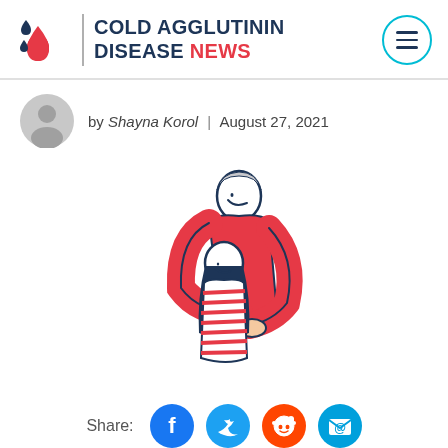COLD AGGLUTININ DISEASE NEWS
by Shayna Korol | August 27, 2021
[Figure (illustration): Illustration of a tall person in a red sweater hugging a shorter person in a striped shirt, rendered in a simple cartoon style with dark outlines]
Share: